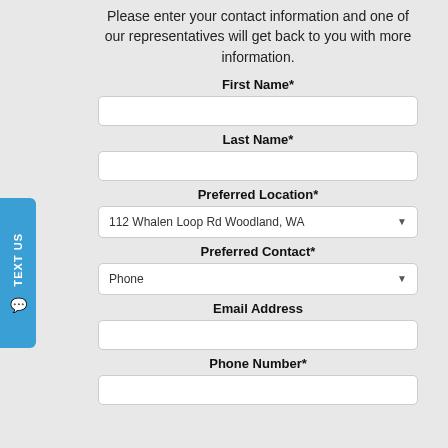Please enter your contact information and one of our representatives will get back to you with more information.
First Name*
Last Name*
Preferred Location*
112 Whalen Loop Rd Woodland, WA
Preferred Contact*
Phone
Email Address
Phone Number*